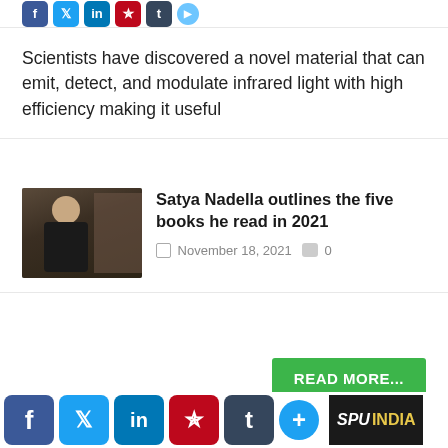[Figure (infographic): Social media share icons: Facebook, Twitter, LinkedIn, Pinterest, Tumblr, and a share button]
Scientists have discovered a novel material that can emit, detect, and modulate infrared light with high efficiency making it useful
[Figure (photo): Photo of Satya Nadella in a dark turtleneck, standing in front of bookshelves]
Satya Nadella outlines the five books he read in 2021
November 18, 2021  0
READ MORE...
E Magazine
[Figure (infographic): Bottom social media share icons: Facebook, Twitter, LinkedIn, Pinterest, Tumblr, plus button, and SPU India logo]